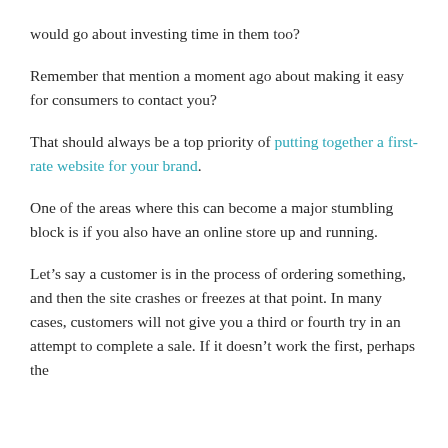would go about investing time in them too?
Remember that mention a moment ago about making it easy for consumers to contact you?
That should always be a top priority of putting together a first-rate website for your brand.
One of the areas where this can become a major stumbling block is if you also have an online store up and running.
Let’s say a customer is in the process of ordering something, and then the site crashes or freezes at that point. In many cases, customers will not give you a third or fourth try in an attempt to complete a sale. If it doesn’t work the first, perhaps the